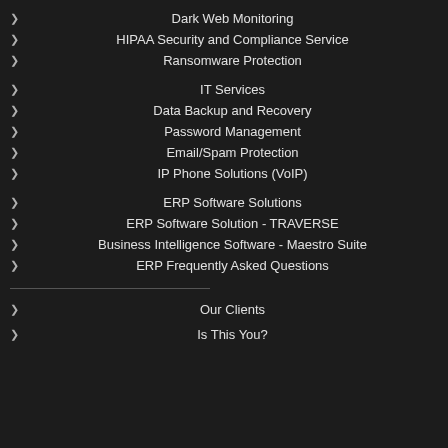Dark Web Monitoring
HIPAA Security and Compliance Service
Ransomware Protection
IT Services
Data Backup and Recovery
Password Management
Email/Spam Protection
IP Phone Solutions (VoIP)
ERP Software Solutions
ERP Software Solution - TRAVERSE
Business Intelligence Software - Maestro Suite
ERP Frequently Asked Questions
Our Clients
Is This You?